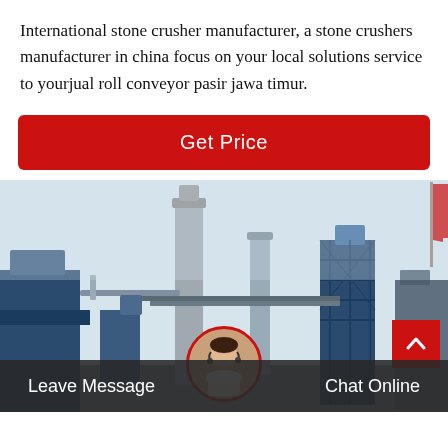International stone crusher manufacturer, a stone crushers manufacturer in china focus on your local solutions service to yourjual roll conveyor pasir jawa timur.
Get Price
[Figure (photo): Industrial factory/plant scene with tall chimneys and blue steel structures, with a Chinese flag visible in the upper right corner.]
Leave Message
Chat Online